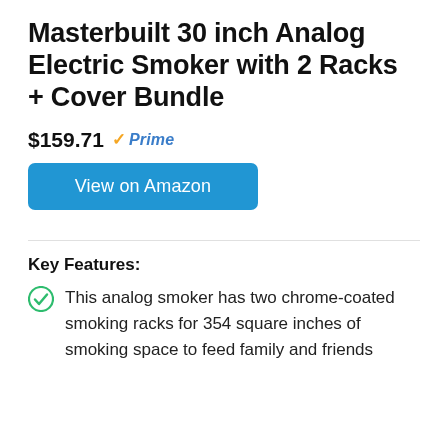Masterbuilt 30 inch Analog Electric Smoker with 2 Racks + Cover Bundle
$159.71 Prime
View on Amazon
Key Features:
This analog smoker has two chrome-coated smoking racks for 354 square inches of smoking space to feed family and friends